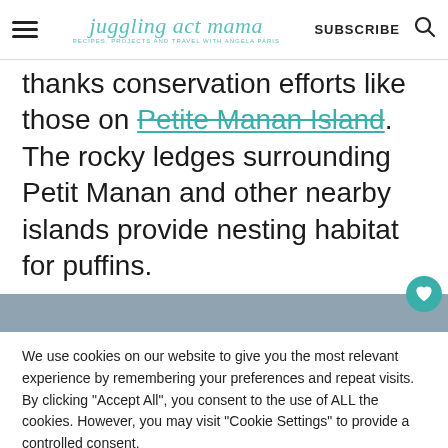juggling act mama — RECIPES, PROJECTS AND TRAVEL WITH ANGELA PARIS | SUBSCRIBE
thanks conservation efforts like those on Petite Manan Island. The rocky ledges surrounding Petit Manan and other nearby islands provide nesting habitat for puffins.
[Figure (other): Gray/blue image bar with teal heart icon button]
We use cookies on our website to give you the most relevant experience by remembering your preferences and repeat visits. By clicking "Accept All", you consent to the use of ALL the cookies. However, you may visit "Cookie Settings" to provide a controlled consent.
Cookie Settings | Accept All